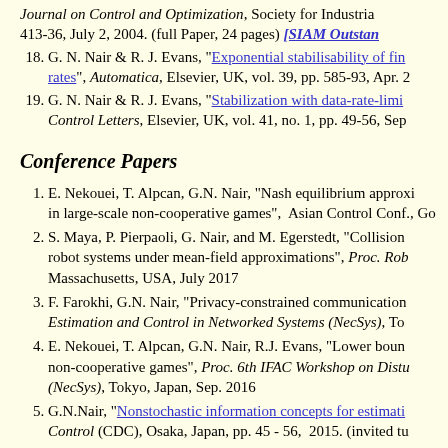Journal on Control and Optimization, Society for Industrial... 413-36, July 2, 2004. (full Paper, 24 pages) [SIAM Outstanding...]
18. G. N. Nair & R. J. Evans, "Exponential stabilisability of fin... rates", Automatica, Elsevier, UK, vol. 39, pp. 585-93, Apr. ...
19. G. N. Nair & R. J. Evans, "Stabilization with data-rate-limi... Control Letters, Elsevier, UK, vol. 41, no. 1, pp. 49-56, Sep...
Conference Papers
1. E. Nekouei, T. Alpcan, G.N. Nair, "Nash equilibrium approxi... in large-scale non-cooperative games", Asian Control Conf., Go...
2. S. Maya, P. Pierpaoli, G. Nair, and M. Egerstedt, "Collision... robot systems under mean-field approximations", Proc. Rob... Massachusetts, USA, July 2017
3. F. Farokhi, G.N. Nair, "Privacy-constrained communication... Estimation and Control in Networked Systems (NecSys), To...
4. E. Nekouei, T. Alpcan, G.N. Nair, R.J. Evans, "Lower boun... non-cooperative games", Proc. 6th IFAC Workshop on Distu... (NecSys), Tokyo, Japan, Sep. 2016
5. G.N.Nair, "Nonstochastic information concepts for estimati... Control (CDC), Osaka, Japan, pp. 45 - 56, 2015. (invited tu...
6. K. You, E. Weyer, G.N. Nair, "Identification of a gain syste... 54th IEEE CDC, pp. 1 - 6, Osaka, Japan, pp. 2453 - 2458,...
7. E. Nekouei, G.N. Nair, T. Alpcan, "Convergence analysis o...